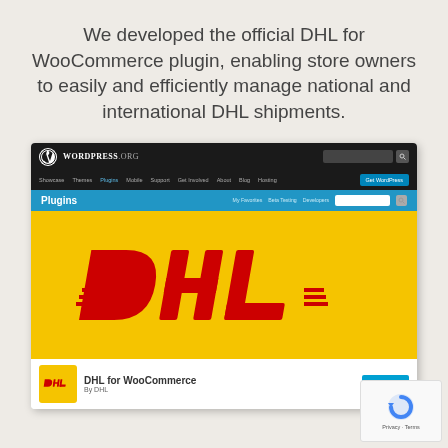We developed the official DHL for WooCommerce plugin, enabling store owners to easily and efficiently manage national and international DHL shipments.
[Figure (screenshot): Screenshot of the WordPress.org plugin directory page showing the DHL for WooCommerce plugin, with DHL logo on yellow background and plugin download information.]